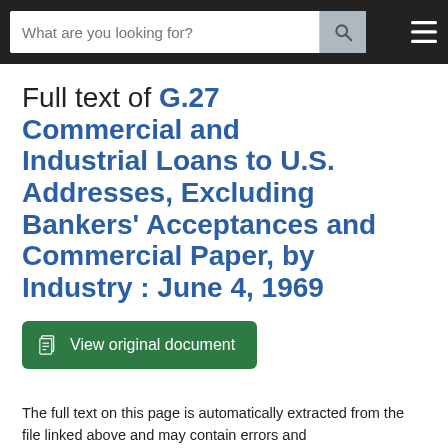What are you looking for? [search bar with icon] [menu icon]
Full text of G.27 Commercial and Industrial Loans to U.S. Addresses, Excluding Bankers' Acceptances and Commercial Paper, by Industry : June 4, 1969
View original document
The full text on this page is automatically extracted from the file linked above and may contain errors and